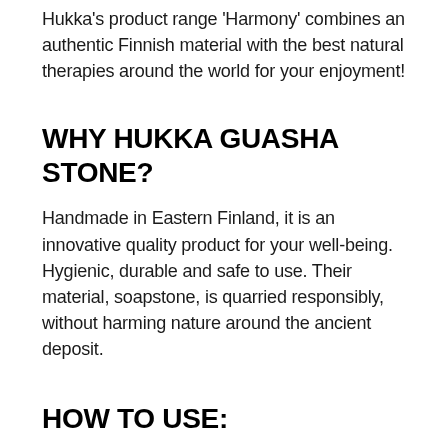Hukka's product range 'Harmony' combines an authentic Finnish material with the best natural therapies around the world for your enjoyment!
WHY HUKKA GUASHA STONE?
Handmade in Eastern Finland, it is an innovative quality product for your well-being. Hygienic, durable and safe to use. Their material, soapstone, is quarried responsibly, without harming nature around the ancient deposit.
HOW TO USE:
The shape of this Guasha stone has been